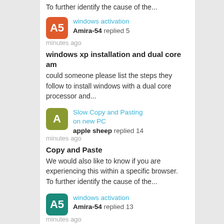To further identify the cause of the...
windows activation — Amira-54 replied 5 minutes ago
windows xp installation and dual core am
could someone please list the steps they follow to install windows with a dual core processor and...
Slow Copy and Pasting on new PC — apple sheep replied 14 minutes ago
Copy and Paste
We would also like to know if you are experiencing this within a specific browser.
To further identify the cause of the...
windows activation — Amira-54 replied 13 minutes ago